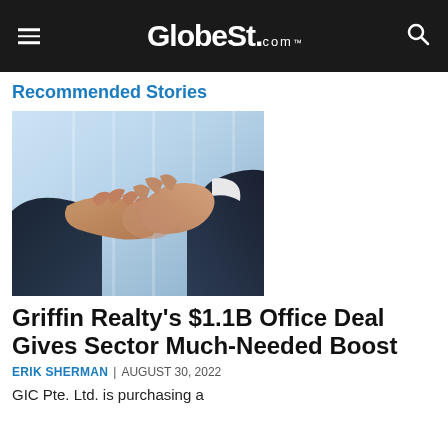GlobeSt.com
Recommended Stories
[Figure (photo): Two people shaking hands in a business setting, with a modern glass building in the background]
Griffin Realty's $1.1B Office Deal Gives Sector Much-Needed Boost
ERIK SHERMAN | AUGUST 30, 2022
GIC Pte. Ltd. is purchasing a